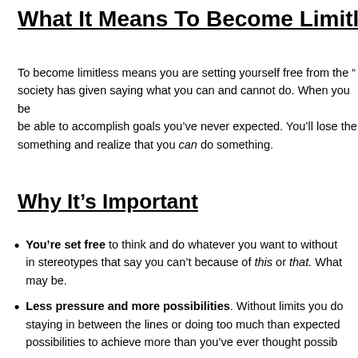What It Means To Become Limitless
To become limitless means you are setting yourself free from the “ rules society has given saying what you can and cannot do. When you become limitless, you’ll be able to accomplish goals you’ve never expected. You’ll lose the fear of not being able to do something and realize that you can do something.
Why It’s Important
You’re set free to think and do whatever you want to without being boxed in in stereotypes that say you can’t because of this or that. Whatever your situation may be.
Less pressure and more possibilities. Without limits you don’t have to worry about staying in between the lines or doing too much than expected. You’ll have more possibilities to achieve more than you’ve ever thought possible.
Empowers you. When you lose your limitations you feel empowered to go beyond what you thought you can do. You’ll gain the type of